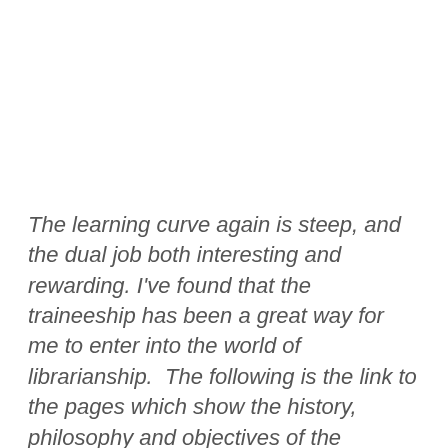The learning curve again is steep, and the dual job both interesting and rewarding. I've found that the traineeship has been a great way for me to enter into the world of librarianship.  The following is the link to the pages which show the history, philosophy and objectives of the program, as well as some past and current trainee experiences.